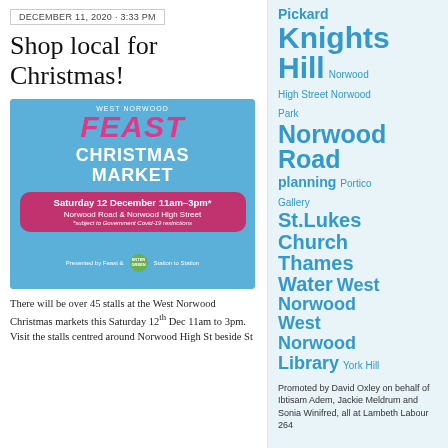DECEMBER 11, 2020 · 3:33 PM
Shop local for Christmas!
[Figure (illustration): West Norwood FEAST Christmas Market poster. Blue background with pink FEAST text, white CHRISTMAS MARKET text, and a pink rounded box showing Saturday 12 December 11am–3pm*, Norwood Road & Norwood High Street, *subject to Government Covid-19 restrictions. Presented by Feast & Station to Station.]
There will be over 45 stalls at the West Norwood Christmas markets this Saturday 12th Dec 11am to 3pm. Visit the stalls centred around Norwood High St beside St
Pickard Knights Hill Norwood High Street Norwood Park Norwood Road planning Portico Gallery St.Lukes Church Thames Water West Norwood West Norwood Library York Hill
Promoted by David Oxley on behalf of Ibtisam Adem, Jackie Meldrum and Sonia Winifred, all at Lambeth Labour 264